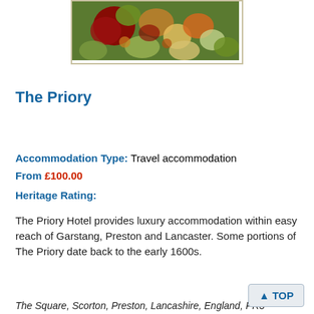[Figure (photo): Photo of colorful garden flowers including red, orange, yellow and green plants]
The Priory
Accommodation Type: Travel accommodation
From £100.00
Heritage Rating:
The Priory Hotel provides luxury accommodation within easy reach of Garstang, Preston and Lancaster. Some portions of The Priory date back to the early 1600s.
The Square, Scorton, Preston, Lancashire, England, PR3